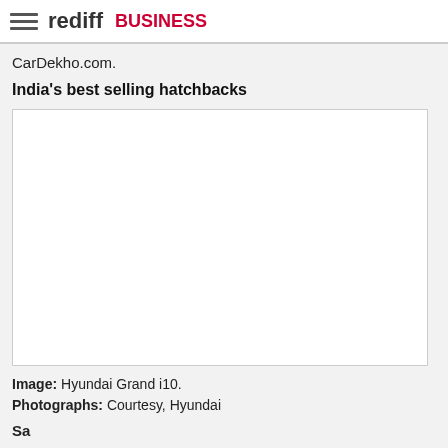rediff BUSINESS
CarDekho.com.
India's best selling hatchbacks
[Figure (photo): Large white empty image box representing a photo of Hyundai Grand i10]
Image: Hyundai Grand i10.
Photographs: Courtesy, Hyundai
Sa